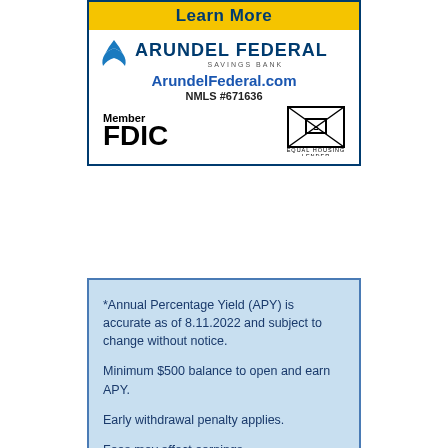[Figure (logo): Arundel Federal Savings Bank advertisement banner with Learn More button, logo, website URL ArundelFederal.com, NMLS #671636, Member FDIC, and Equal Housing Lender logos]
*Annual Percentage Yield (APY) is accurate as of 8.11.2022 and subject to change without notice.

Minimum $500 balance to open and earn APY.

Early withdrawal penalty applies.

Fees may affect earnings.
Learn More